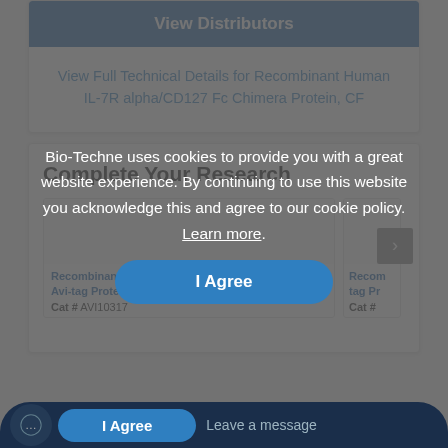View Distributors
View Full Technical Details for Recombinant Human IL-7R alpha/CD127 Fc Chimera Protein, CF
Complete Your Research
Recombinant Human IL-7R alpha/CD127 Fc Avi-tag Protein, CF
Cat # AVI10317
Bio-Techne uses cookies to provide you with a great website experience. By continuing to use this website you acknowledge this and agree to our cookie policy. Learn more.
I Agree
Leave a message